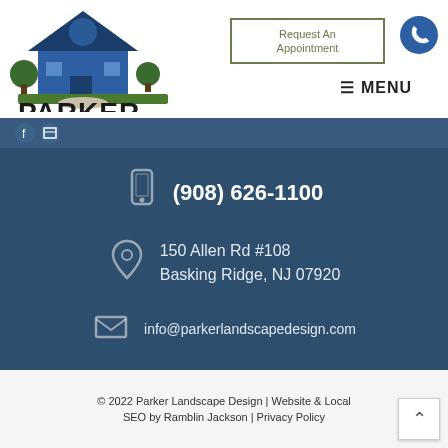[Figure (logo): Parker Landscape Design logo featuring a blue house with tree and green landscaping, with company name below]
Request An Appointment
MENU
(908) 626-1100
150 Allen Rd #108
Basking Ridge, NJ 07920
info@parkerlandscapedesign.com
© 2022 Parker Landscape Design | Website & Local SEO by Ramblin Jackson | Privacy Policy